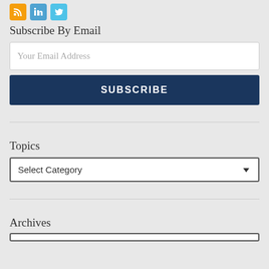[Figure (infographic): Three social media icons: RSS (orange), LinkedIn (blue), Twitter (light blue)]
Subscribe By Email
Your Email Address
SUBSCRIBE
Topics
Select Category
Archives